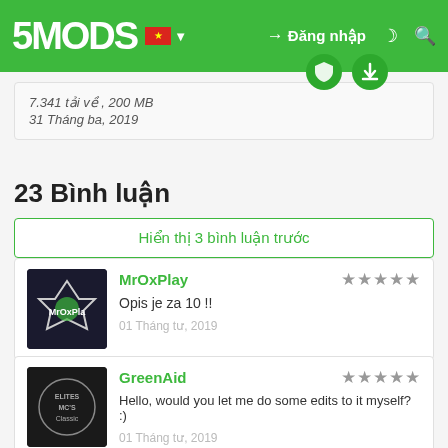5MODS | Đăng nhập
7.341 tải về , 200 MB
31 Tháng ba, 2019
23 Bình luận
Hiển thị 3 bình luận trước
MrOxPlay
Opis je za 10 !!
01 Tháng tư, 2019
GreenAid
Hello, would you let me do some edits to it myself? :)
01 Tháng tư, 2019
NajPotez Tác giả
@GreenAid If you mean to edit handling, or to make